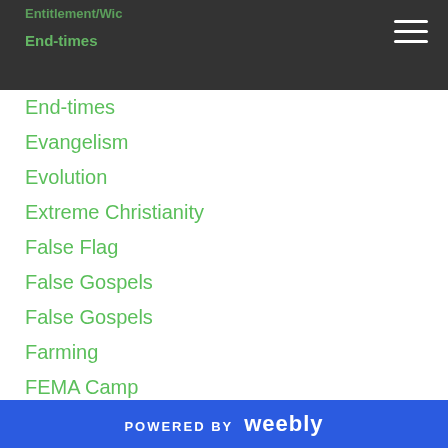End-times
End-times
Evangelism
Evolution
Extreme Christianity
False Flag
False Gospels
False Gospels
Farming
FEMA Camp
Feminism
Feminization Of Men
Free Speech
Gangs
Gay
Gay Agenda
POWERED BY weebly